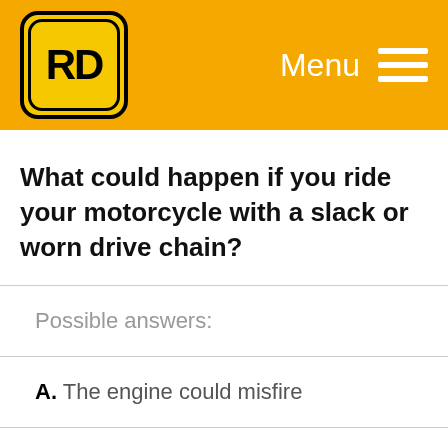[Figure (logo): RD logo: yellow rounded square with black border, bold black RD text inside]
Menu
What could happen if you ride your motorcycle with a slack or worn drive chain?
Possible answers:
A. The engine could misfire
B. The tyres could wear more quickly